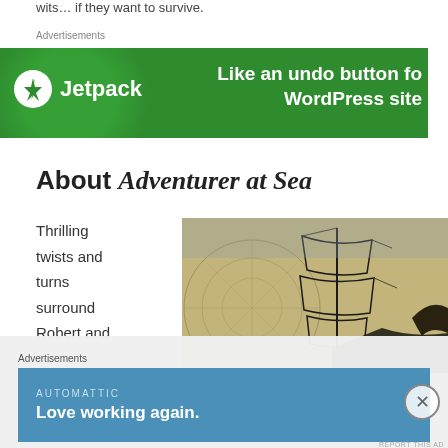wits… if they want to survive.
Advertisements
[Figure (screenshot): Jetpack advertisement banner on green background with logo and text 'Like an undo button fo… WordPress site']
About Adventurer at Sea
Thrilling twists and turns surround Robert and
[Figure (photo): Illustration of a tall sailing ship over an old nautical map background]
Advertisements
[Figure (screenshot): Automattic advertisement banner on blue background with text 'Love working again.']